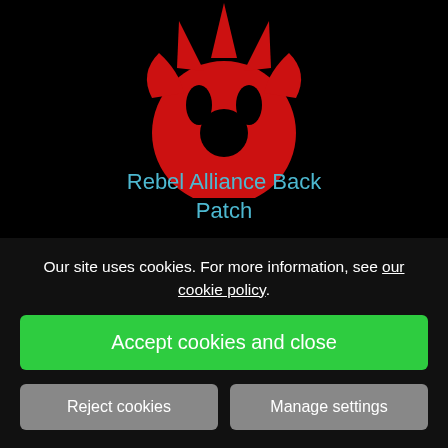[Figure (logo): Red Rebel Alliance symbol (bird/phoenix shape) on black background]
Rebel Alliance Back Patch
£14.00
VIEW DETAILS
Our site uses cookies. For more information, see our cookie policy.
Accept cookies and close
Reject cookies
Manage settings